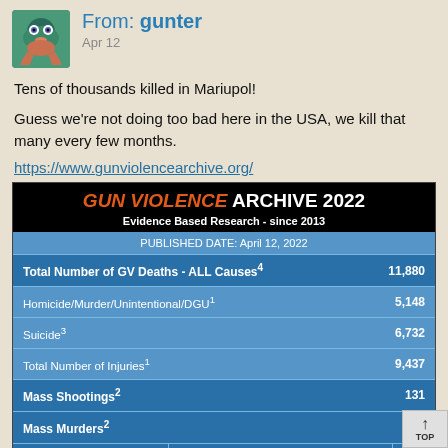From: gunter
Apr 12
Tens of thousands killed in Mariupol!
Guess we're not doing too bad here in the USA, we kill that many every few months.
https://www.gunviolencearchive.org/
[Figure (table-as-image): Gun Violence Archive 2022 statistics table showing GV Deaths, Injuries, Mass Shootings, Mass Murders, and Children statistics as of April 12, 2022]
| Category | Sub | Value |
| --- | --- | --- |
| PUBLISHED DATE: April 12, 2022 |  |  |
| Total Number of GV Deaths - ALL Causes⁴ |  | 11,880 |
| Homicide/Murder/Unintentional/DGU¹ |  | 5,148 |
| Suicide³ |  | 6,732 |
| Total Number of Injuries¹ |  | 9,437 |
| Mass Shootings² |  | 131 |
| Mass Murders² |  | 5 |
| Number of Children (age 0-11)¹ | Killed | 84 |
| Number of Children (age 0-11)¹ | Injured | 192 |